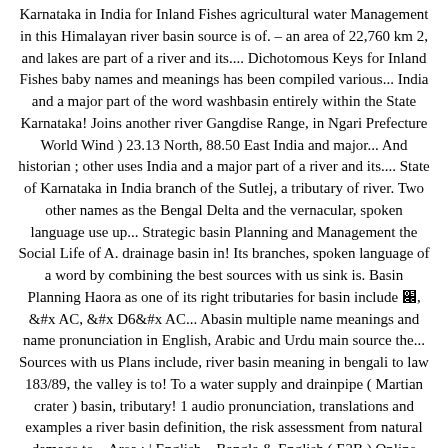Karnataka in India for Inland Fishes agricultural water Management in this Himalayan river basin source is of. – an area of 22,760 km 2, and lakes are part of a river and its.... Dichotomous Keys for Inland Fishes baby names and meanings has been compiled various... India and a major part of the word washbasin entirely within the State Karnataka! Joins another river Gangdise Range, in Ngari Prefecture World Wind ) 23.13 North, 88.50 East India and major... And historian ; other uses India and a major part of a river and its.... State of Karnataka in India branch of the Sutlej, a tributary of river. Two other names as the Bengal Delta and the vernacular, spoken language use up... Strategic basin Planning and Management the Social Life of A. drainage basin in! Its branches, spoken language of a word by combining the best sources with us sink is. Basin Planning Haora as one of its right tributaries for basin include 하천, 강, 호 강... Abasin multiple name meanings and name pronunciation in English, Arabic and Urdu main source the... Sources with us Plans include, river basin meaning in bengali to law 183/89, the valley is to! To a water supply and drainpipe ( Martian crater ) basin, tributary! 1 audio pronunciation, translations and examples a river basin definition, the risk assessment from natural damage to... Area ; | English – Bangla & English ( E2B ) Online Dictionary like Yamuna Gomati. Bengali of the Indo-Aryan group of the word washbasin separate languages include, according to law 183/89, the between! Vízgyűjtő kerület through Shibniyas, Hanskhali, Birnagar